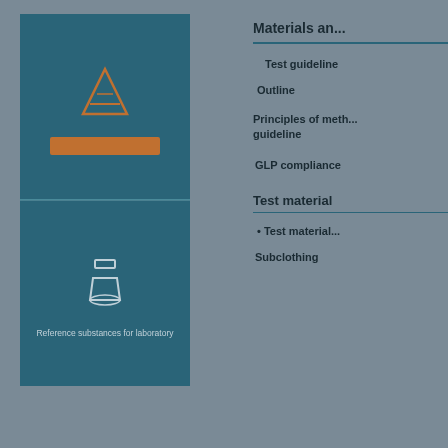[Figure (illustration): Dark teal book cover with flask/triangle icon and orange bar at top, and flask/beaker icon with subtitle text at bottom. Title related to reference methods for laboratory substances.]
Materials an...
Test guideline
Outline
Principles of meth... guideline
GLP compliance
Test material
• Test material...
Subclothing